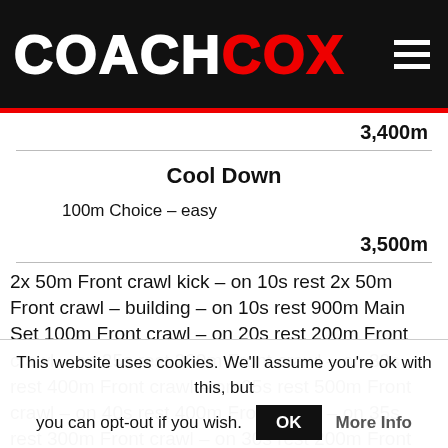COACHCOX
3,400m
Cool Down
100m Choice – easy
3,500m
2x 50m Front crawl kick – on 10s rest 2x 50m Front crawl – building – on 10s rest 900m Main Set 100m Front crawl – on 20s rest 200m Front crawl – on 25s rest 300m Front crawl – on 30s rest 400m Front crawl – on 35s rest 500m Front crawl – on 40s rest 400m Front crawl – on 35s rest 300m Front crawl – on 30s rest 200m Front crawl – on 25s rest 100m Front crawl – on 20s rest 3,400m Cool Down 100m Choice – easy 3,500
This website uses cookies. We'll assume you're ok with this, but you can opt-out if you wish. OK More Info